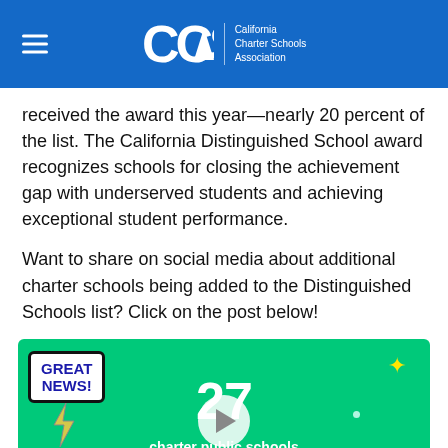California Charter Schools Association
received the award this year—nearly 20 percent of the list. The California Distinguished School award recognizes schools for closing the achievement gap with underserved students and achieving exceptional student performance.
Want to share on social media about additional charter schools being added to the Distinguished Schools list? Click on the post below!
[Figure (screenshot): Video thumbnail on green background showing '27 charter public schools have been added as 2021 California Distinguished Schools!' with a speech bubble saying GREAT NEWS!, a lightning bolt graphic, a play button, and sparkle decorations.]